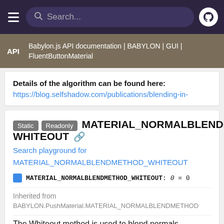Search...
Babylon.js API documentation | BABYLON | GUI | FluentButtonMaterial
Details of the algorithm can be found here:
https://blog.selfshadow.com/publications/blending-in-
Static Readonly MATERIAL_NORMALBLENDME WHITEOUT
Search playground for
MATERIAL_NORMALBLENDMETHOD_WHITEOUT
MATERIAL_NORMALBLENDMETHOD_WHITEOUT: 0 = 0
Inherited from
BABYLON.PushMaterial.MATERIAL_NORMALBLENDMETHOD
The Whiteout method is used to blend normals.
Details of the algorithm can be found here: